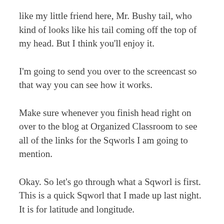like my little friend here, Mr. Bushy tail, who kind of looks like his tail coming off the top of my head. But I think you’ll enjoy it.
I’m going to send you over to the screencast so that way you can see how it works.
Make sure whenever you finish head right on over to the blog at Organized Classroom to see all of the links for the Sqworls I am going to mention.
Okay. So let’s go through what a Sqworl is first. This is a quick Sqworl that I made up last night. It is for latitude and longitude.